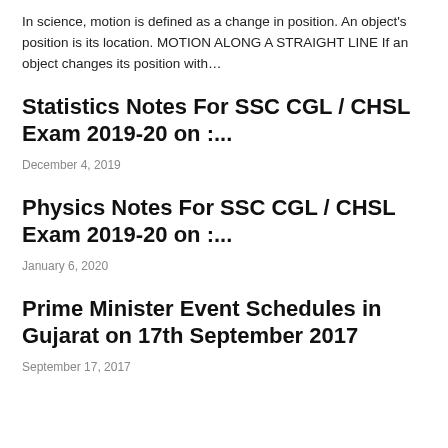In science, motion is defined as a change in position. An object's position is its location. MOTION ALONG A STRAIGHT LINE If an object changes its position with…
Statistics Notes For SSC CGL / CHSL Exam 2019-20 on :…
December 4, 2019
Physics Notes For SSC CGL / CHSL Exam 2019-20 on :…
January 6, 2020
Prime Minister Event Schedules in Gujarat on 17th September 2017
September 17, 2017